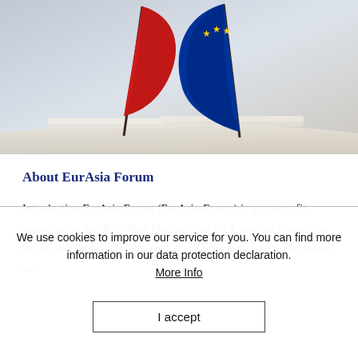[Figure (photo): Photo of a red flag and a blue EU flag with yellow stars crossed against a light background with papers underneath]
About EurAsia Forum
Introduction EurAsia Forum (EurAsia-Forum) is a non-profit organisation that Providing International PR Expertise Consulting for the mediation and improvement of business cooperation as well as...
We use cookies to improve our service for you. You can find more information in our data protection declaration. More Info
I accept